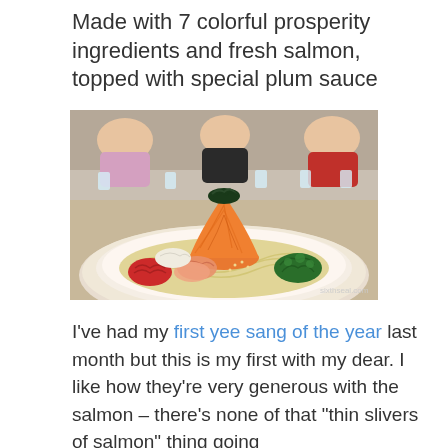Made with 7 colorful prosperity ingredients and fresh salmon, topped with special plum sauce
[Figure (photo): A plate of yee sang (yu sheng) Chinese New Year prosperity salad with shredded carrots piled in a cone shape topped with seaweed, surrounded by red pickled ginger, salmon slices, glass noodles, and fresh herbs/greens on a round lazy susan at a restaurant table with people dining in the background. Watermark: sixthseal.com]
I've had my first yee sang of the year last month but this is my first with my dear. I like how they're very generous with the salmon – there's none of that "thin slivers of salmon" thing going